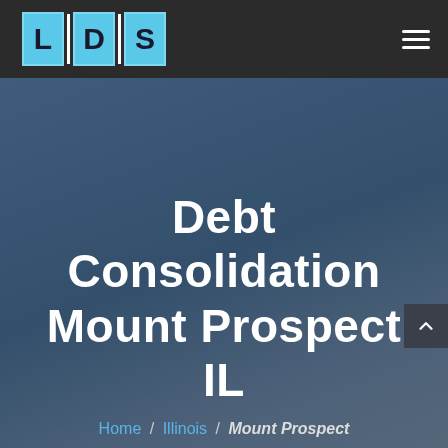[Figure (logo): LDS logo — three cyan square tiles each containing a letter L, D, S separated by white vertical bars, on a dark grey header bar]
[Figure (infographic): Hero background image showing a blurred person silhouette against a dark steel-blue gradient background]
Debt Consolidation Mount Prospect IL
Home / Illinois / Mount Prospect